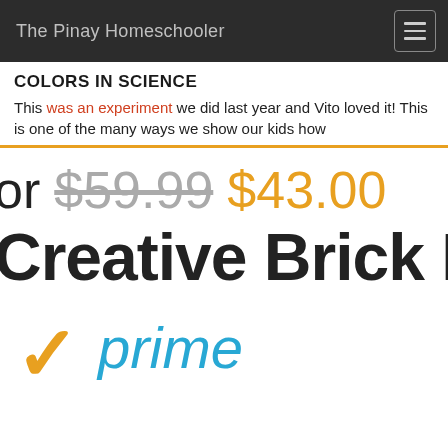The Pinay Homeschooler
COLORS IN SCIENCE
This was an experiment we did last year and Vito loved it! This is one of the many ways we show our kids how
or $59.99 $43.00
Creative Brick Box
[Figure (logo): Amazon Prime logo with orange checkmark and blue 'prime' text]